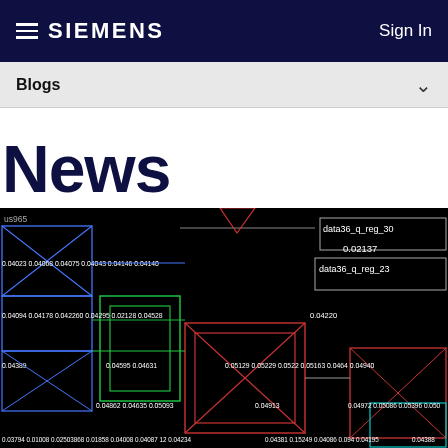SIEMENS  Sign In
Blogs
News
[Figure (engineering-diagram): Electronic circuit layout / place-and-route diagram on black background showing colored rectangular blocks (blue, red, green, cyan) with crossing lines and numeric labels such as data36_q_reg_30, data36_q_reg_23, and decimal values like 0.02137, 0.04220, 0.04389, 0.04595, 0.04631, 0.05129, 0.05229, 0.0522, 0.04913, etc.]